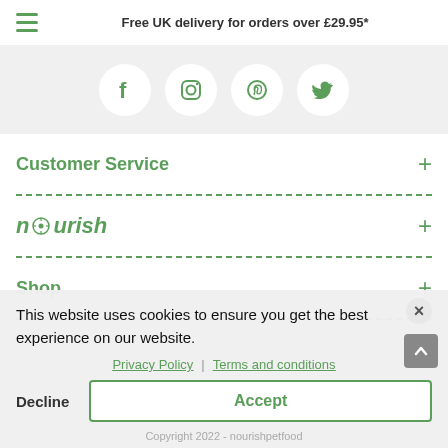Free UK delivery for orders over £29.95*
[Figure (other): Social media icons: Facebook, Instagram, Pinterest, Twitter — each in a white circle on a light grey background]
Customer Service
nourish
Shop
This website uses cookies to ensure you get the best experience on our website.
Privacy Policy | Terms and conditions
Decline   Accept
Copyright 2022 - nourishpetfood